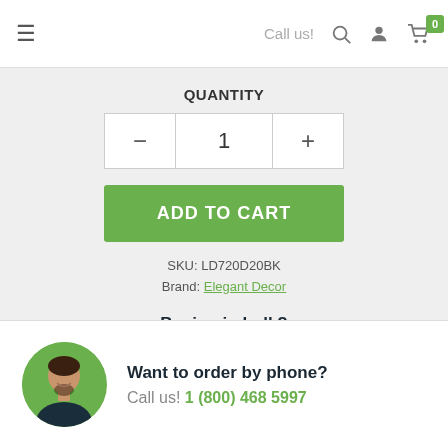Call us!
QUANTITY
1
ADD TO CART
SKU: LD720D20BK
Brand: Elegant Decor
Buying in bulk?
Request a quote ›
[Figure (photo): Circular avatar photo of a smiling man with short hair and beard on a green background]
Want to order by phone?
Call us! 1 (800) 468 5997